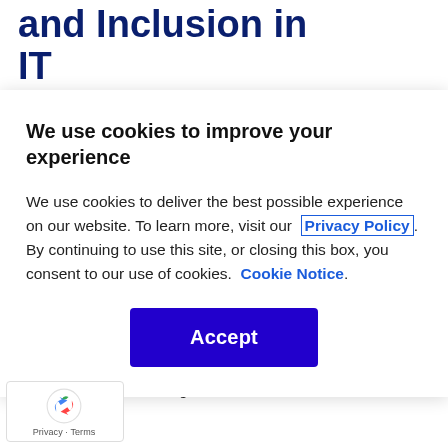and Inclusion in IT
We use cookies to improve your experience
We use cookies to deliver the best possible experience on our website. To learn more, visit our Privacy Policy. By continuing to use this site, or closing this box, you consent to our use of cookies. Cookie Notice.
Accept
mpetitive advantage for IT and the enterprise.